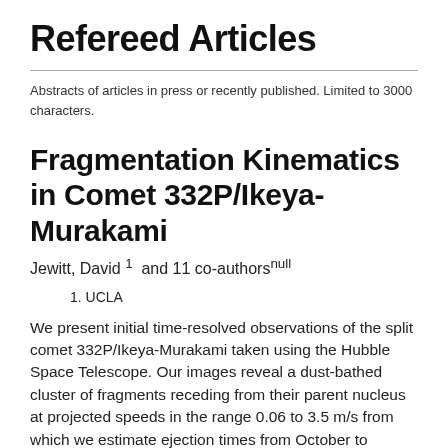Refereed Articles
Abstracts of articles in press or recently published. Limited to 3000 characters.
Fragmentation Kinematics in Comet 332P/Ikeya-Murakami
Jewitt, David 1  and 11 co-authorsnull
1. UCLA
We present initial time-resolved observations of the split comet 332P/Ikeya-Murakami taken using the Hubble Space Telescope. Our images reveal a dust-bathed cluster of fragments receding from their parent nucleus at projected speeds in the range 0.06 to 3.5 m/s from which we estimate ejection times from October to December 2015. The number of fragments with effective radii ≥20 m